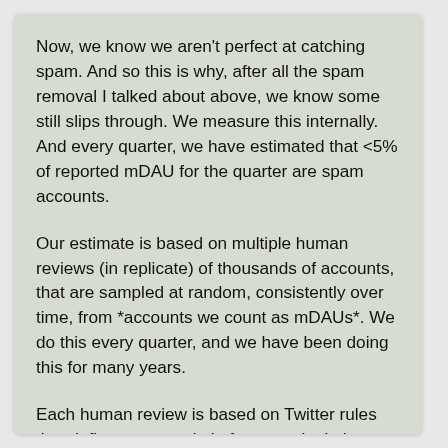Now, we know we aren't perfect at catching spam. And so this is why, after all the spam removal I talked about above, we know some still slips through. We measure this internally. And every quarter, we have estimated that <5% of reported mDAU for the quarter are spam accounts.
Our estimate is based on multiple human reviews (in replicate) of thousands of accounts, that are sampled at random, consistently over time, from *accounts we count as mDAUs*. We do this every quarter, and we have been doing this for many years.
Each human review is based on Twitter rules that define spam and platform manipulation, and uses both public and private data (eg, IP address, phone number, geolocation, client/browser signatures, what the account does when it's active...) to make a determination on each account.